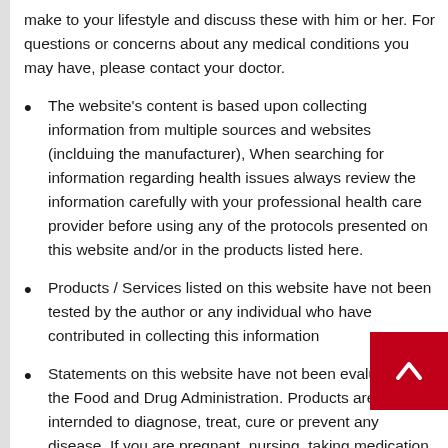make to your lifestyle and discuss these with him or her. For questions or concerns about any medical conditions you may have, please contact your doctor.
The website's content is based upon collecting information from multiple sources and websites (inclduing the manufacturer), When searching for information regarding health issues always review the information carefully with your professional health care provider before using any of the protocols presented on this website and/or in the products listed here.
Products / Services listed on this website have not been tested by the author or any individual who have contributed in collecting this information
Statements on this website have not been evaluated by the Food and Drug Administration. Products are not intended to diagnose, treat, cure or prevent any disease. If you are pregnant, nursing, taking medication, or have a medical condition, consult your physician before consuming any